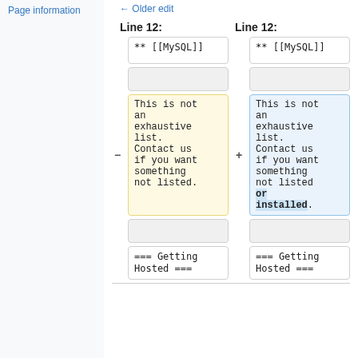Page information
Older edit
Line 12:   Line 12:
| Old | New |
| --- | --- |
| ** [[MySQL]] | ** [[MySQL]] |
|  |  |
| This is not an exhaustive list. Contact us if you want something not listed. | This is not an exhaustive list. Contact us if you want something not listed or installed. |
|  |  |
| === Getting Hosted === | === Getting Hosted === |